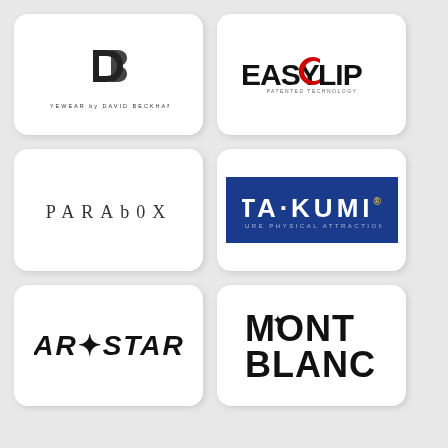[Figure (logo): Eyewear by David Beckham logo with DB monogram and text EYEWEAR by DAVID BECKHAM]
[Figure (logo): EASYCLIP logo with red clip element and PATENTED TECHNOLOGY subtitle]
[Figure (logo): PARADOX logo in serif spaced letterforms]
[Figure (logo): TAKUMI logo on blue background with PURE PHYSICAL ATTRACTION subtitle]
[Figure (logo): ARiSTAR logo in bold italic with star accent on i]
[Figure (logo): MONT BLANC logo in large bold letters with snowflake/star symbol]